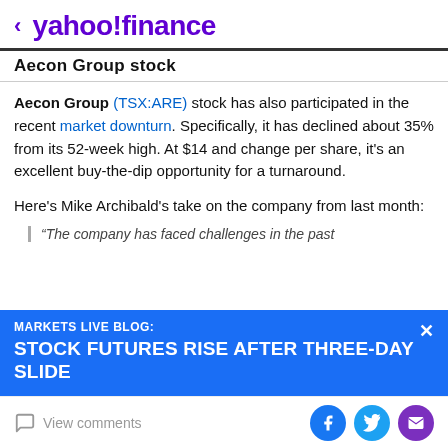< yahoo!finance
Aecon Group stock
Aecon Group (TSX:ARE) stock has also participated in the recent market downturn. Specifically, it has declined about 35% from its 52-week high. At $14 and change per share, it's an excellent buy-the-dip opportunity for a turnaround.
Here's Mike Archibald's take on the company from last month:
“The company has faced challenges in the past
MARKETS LIVE BLOG: STOCK FUTURES RISE AFTER THREE-DAY SLIDE
View comments